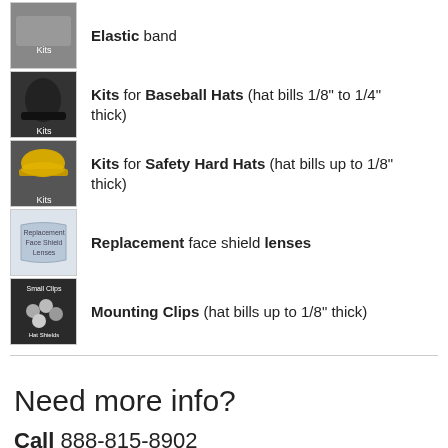Elastic band
Kits for Baseball Hats (hat bills 1/8" to 1/4" thick)
Kits for Safety Hard Hats (hat bills up to 1/8" thick)
Replacement face shield lenses
Mounting Clips (hat bills up to 1/8" thick)
Need more info?
Call 888-815-8902